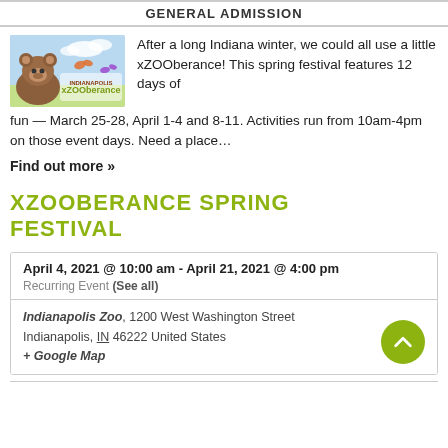GENERAL ADMISSION
[Figure (photo): xZOOberance spring festival promotional image showing a bear and colorful spring scenery with the event logo]
After a long Indiana winter, we could all use a little xZOOberance! This spring festival features 12 days of fun — March 25-28, April 1-4 and 8-11. Activities run from 10am-4pm on those event days. Need a place…
Find out more »
XZOOBERANCE SPRING FESTIVAL
April 4, 2021 @ 10:00 am - April 21, 2021 @ 4:00 pm
Recurring Event (See all)
Indianapolis Zoo, 1200 West Washington Street Indianapolis, IN 46222 United States + Google Map